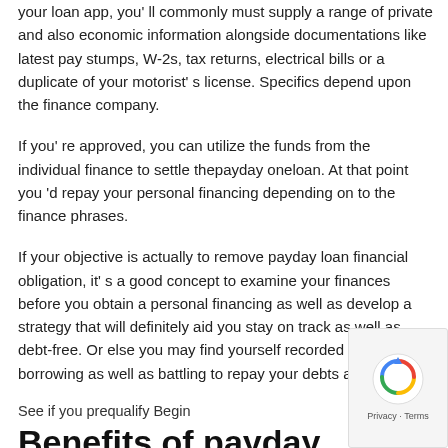your loan app, you'll commonly must supply a range of private and also economic information alongside documentations like latest pay stumps, W-2s, tax returns, electrical bills or a duplicate of your motorist's license. Specifics depend upon the finance company.
If you're approved, you can utilize the funds from the individual finance to settle thepayday oneloan. At that point you 'd repay your personal financing depending on to the finance phrases.
If your objective is actually to remove payday loan financial obligation, it's a good concept to examine your finances before you obtain a personal financing as well as develop a strategy that will definitely aid you stay on track as well as debt-free. Or else you may find yourself recorded in a cycle of borrowing as well as battling to repay your debts again.
See if you prequalify Begin
Benefits of payday loan consolidation